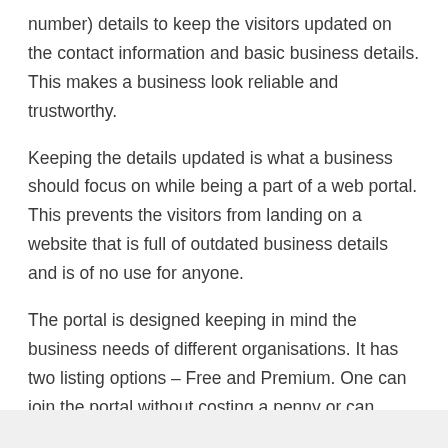number) details to keep the visitors updated on the contact information and basic business details. This makes a business look reliable and trustworthy.
Keeping the details updated is what a business should focus on while being a part of a web portal. This prevents the visitors from landing on a website that is full of outdated business details and is of no use for anyone.
The portal is designed keeping in mind the business needs of different organisations. It has two listing options – Free and Premium. One can join the portal without costing a penny or can enjoy advanced features with the paid listing option.
Be a part of the listing site today!